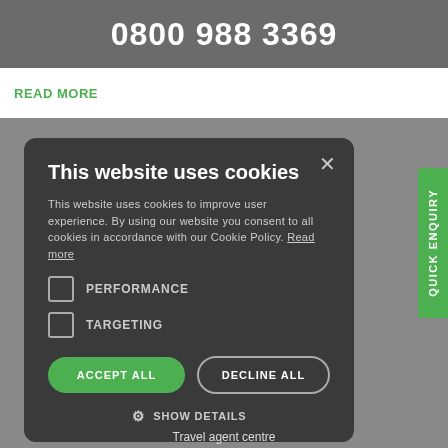0800 988 3369
READ MORE
This website uses cookies
This website uses cookies to improve user experience. By using our website you consent to all cookies in accordance with our Cookie Policy. Read more
PERFORMANCE
TARGETING
ACCEPT ALL
DECLINE ALL
SHOW DETAILS
QUICK ENQUIRY
Travel agent centre